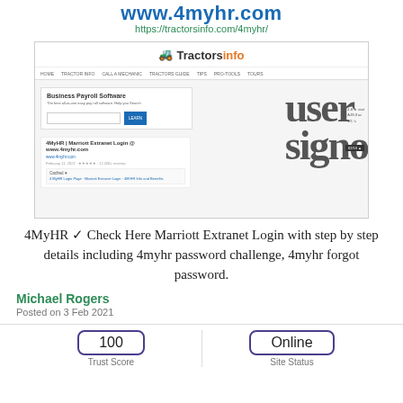www.4myhr.com
https://tractorsinfo.com/4myhr/
[Figure (screenshot): Screenshot of tractorsinfo.com webpage showing 4MyHR Marriott Extranet Login content with 'user signo' overlay text, Business Payroll Software box, and search results.]
4MyHR ✓ Check Here Marriott Extranet Login with step by step details including 4myhr password challenge, 4myhr forgot password.
Michael Rogers
Posted on 3 Feb 2021
| Trust Score | Site Status |
| --- | --- |
| 100 | Online |